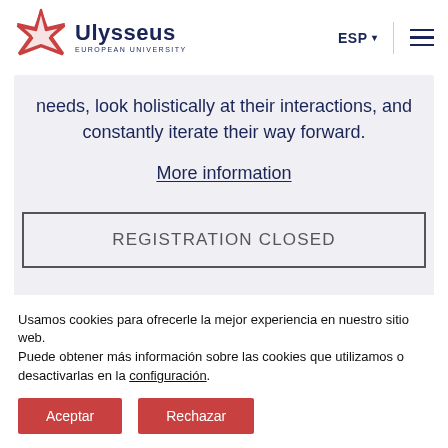[Figure (logo): Ulysseus European University logo with red star-like shape and text 'Ulysseus EUROPEAN UNIVERSITY']
needs, look holistically at their interactions, and constantly iterate their way forward.
More information
REGISTRATION CLOSED
Usamos cookies para ofrecerle la mejor experiencia en nuestro sitio web.
Puede obtener más información sobre las cookies que utilizamos o desactivarlas en la configuración.
Aceptar
Rechazar